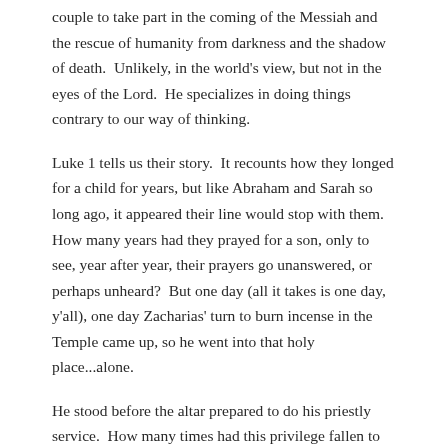couple to take part in the coming of the Messiah and the rescue of humanity from darkness and the shadow of death.  Unlikely, in the world's view, but not in the eyes of the Lord.  He specializes in doing things contrary to our way of thinking.
Luke 1 tells us their story.  It recounts how they longed for a child for years, but like Abraham and Sarah so long ago, it appeared their line would stop with them.  How many years had they prayed for a son, only to see, year after year, their prayers go unanswered, or perhaps unheard?  But one day (all it takes is one day, y'all), one day Zacharias' turn to burn incense in the Temple came up, so he went into that holy place...alone.
He stood before the altar prepared to do his priestly service.  How many times had this privilege fallen to him?  How often had he stood here and offered up the sweet smelling aroma that symbolized the prayers of the people rising to the Lord that...